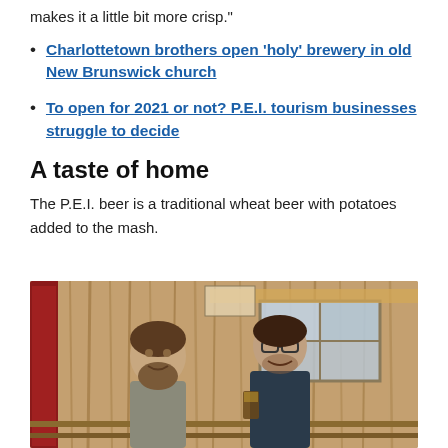makes it a little bit more crisp."
Charlottetown brothers open 'holy' brewery in old New Brunswick church
To open for 2021 or not? P.E.I. tourism businesses struggle to decide
A taste of home
The P.E.I. beer is a traditional wheat beer with potatoes added to the mash.
[Figure (photo): Two men standing and smiling in front of a rustic wooden building exterior. One man on the left has a beard and is wearing a grey jacket. The man on the right is taller, wearing glasses and a dark jacket, and is holding a dark beer glass.]